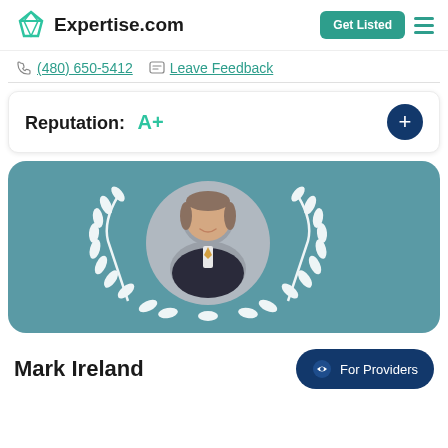Expertise.com | Get Listed
(480) 650-5412 | Leave Feedback
Reputation: A+
[Figure (photo): Award card with teal background showing a circular headshot of Mark Ireland framed by a white laurel wreath]
Mark Ireland
For Providers